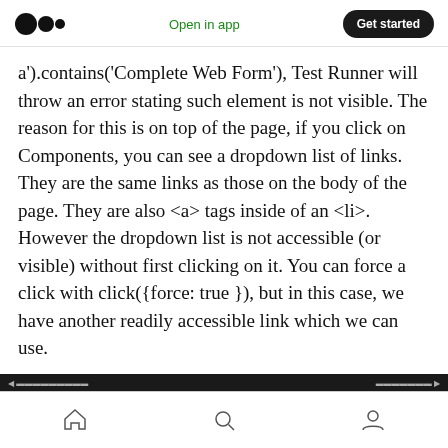Open in app | Get started
a').contains('Complete Web Form'), Test Runner will throw an error stating such element is not visible. The reason for this is on top of the page, if you click on Components, you can see a dropdown list of links. They are the same links as those on the body of the page. They are also <a> tags inside of an <li>. However the dropdown list is not accessible (or visible) without first clicking on it. You can force a click with click({force: true }), but in this case, we have another readily accessible link which we can use.
Home | Search | Profile